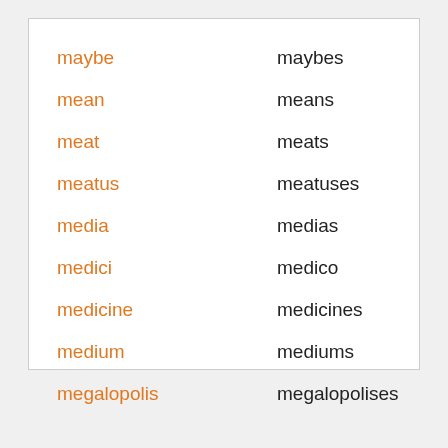maybe — maybes
mean — means
meat — meats
meatus — meatuses
media — medias
medici — medico
medicine — medicines
medium — mediums
megalopolis — megalopolises